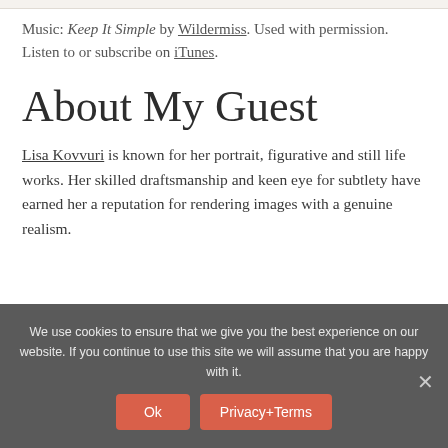Music: Keep It Simple by Wildermiss. Used with permission.
Listen to or subscribe on iTunes.
About My Guest
Lisa Kovvuri is known for her portrait, figurative and still life works. Her skilled draftsmanship and keen eye for subtlety have earned her a reputation for rendering images with a genuine realism.
We use cookies to ensure that we give you the best experience on our website. If you continue to use this site we will assume that you are happy with it.